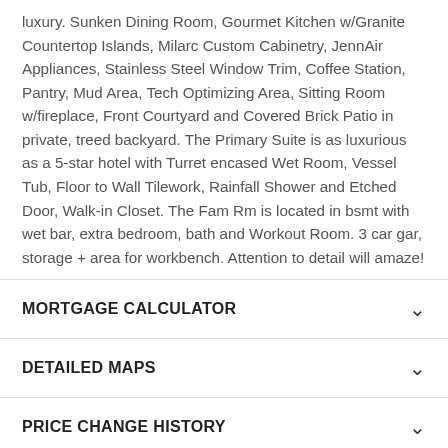luxury. Sunken Dining Room, Gourmet Kitchen w/Granite Countertop Islands, Milarc Custom Cabinetry, JennAir Appliances, Stainless Steel Window Trim, Coffee Station, Pantry, Mud Area, Tech Optimizing Area, Sitting Room w/fireplace, Front Courtyard and Covered Brick Patio in private, treed backyard. The Primary Suite is as luxurious as a 5-star hotel with Turret encased Wet Room, Vessel Tub, Floor to Wall Tilework, Rainfall Shower and Etched Door, Walk-in Closet. The Fam Rm is located in bsmt with wet bar, extra bedroom, bath and Workout Room. 3 car gar, storage + area for workbench. Attention to detail will amaze!
MORTGAGE CALCULATOR
DETAILED MAPS
PRICE CHANGE HISTORY
COMMUNITY INFORMATION